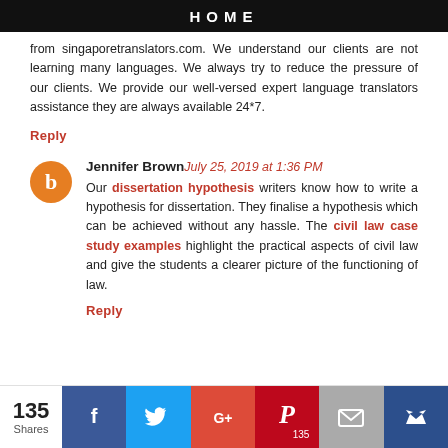HOME
from singaporetranslators.com. We understand our clients are not learning many languages. We always try to reduce the pressure of our clients. We provide our well-versed expert language translators assistance they are always available 24*7.
Reply
Jennifer Brown July 25, 2019 at 1:36 PM
Our dissertation hypothesis writers know how to write a hypothesis for dissertation. They finalise a hypothesis which can be achieved without any hassle. The civil law case study examples highlight the practical aspects of civil law and give the students a clearer picture of the functioning of law.
Reply
[Figure (infographic): Social share bar with 135 shares, Facebook, Twitter, Google+, Pinterest (135), Email, and Crown buttons]